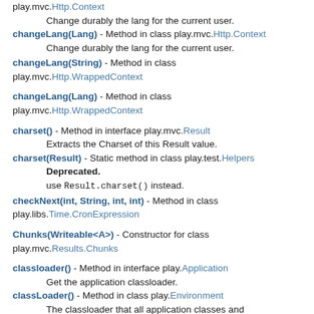play.mvc.Http.Context
  Change durably the lang for the current user.
changeLang(Lang) - Method in class play.mvc.Http.Context
  Change durably the lang for the current user.
changeLang(String) - Method in class play.mvc.Http.WrappedContext
changeLang(Lang) - Method in class play.mvc.Http.WrappedContext
charset() - Method in interface play.mvc.Result
  Extracts the Charset of this Result value.
charset(Result) - Static method in class play.test.Helpers
  Deprecated.
  use Result.charset() instead.
checkNext(int, String, int, int) - Method in class play.libs.Time.CronExpression
Chunks(Writeable<A>) - Constructor for class play.mvc.Results.Chunks
classloader() - Method in interface play.Application
  Get the application classloader.
classLoader() - Method in class play.Environment
  The classloader that all application classes and